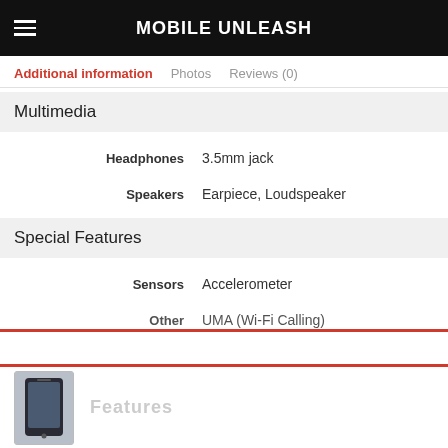MOBILE UNLEASH
Additional information  Photos  Reviews (0)
| Property | Value |
| --- | --- |
| Multimedia |  |
| Headphones | 3.5mm jack |
| Speakers | Earpiece, Loudspeaker |
| Special Features |  |
| Sensors | Accelerometer |
| Other | UMA (Wi-Fi Calling) |
[Figure (photo): Thumbnail image of a mobile phone at bottom of page]